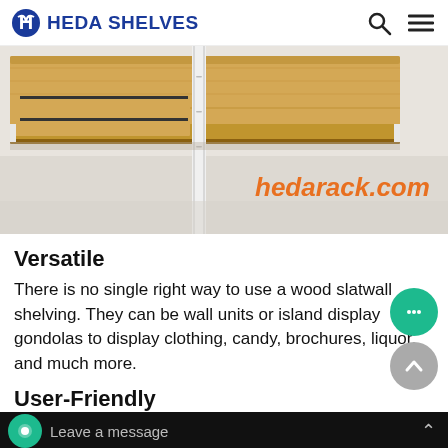HEDA SHELVES
[Figure (photo): Close-up photo of wood slatwall shelving unit with white metal frame on a light background, with orange text 'hedarack.com' overlaid on the image.]
Versatile
There is no single right way to use a wood slatwall shelving. They can be wall units or island display gondolas to display clothing, candy, brochures, liquor, and much more.
User-Friendly